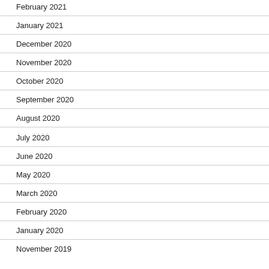February 2021
January 2021
December 2020
November 2020
October 2020
September 2020
August 2020
July 2020
June 2020
May 2020
March 2020
February 2020
January 2020
November 2019